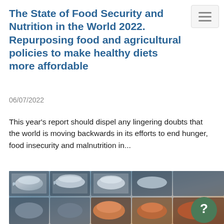menu button (hamburger icon)
The State of Food Security and Nutrition in the World 2022. Repurposing food and agricultural policies to make healthy diets more affordable
06/07/2022
This year's report should dispel any lingering doubts that the world is moving backwards in its efforts to end hunger, food insecurity and malnutrition in...
[Figure (photo): Photograph of a fish market stall showing various fish and seafood displayed on ice in compartments, with a green circular help/question mark button overlay in the bottom right corner.]